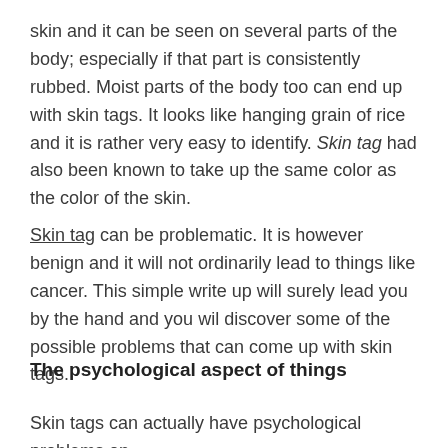skin and it can be seen on several parts of the body; especially if that part is consistently rubbed. Moist parts of the body too can end up with skin tags. It looks like hanging grain of rice and it is rather very easy to identify. Skin tag had also been known to take up the same color as the color of the skin.
Skin tag can be problematic. It is however benign and it will not ordinarily lead to things like cancer. This simple write up will surely lead you by the hand and you wil discover some of the possible problems that can come up with skin tags.
The psychological aspect of things
Skin tags can actually have psychological problems on